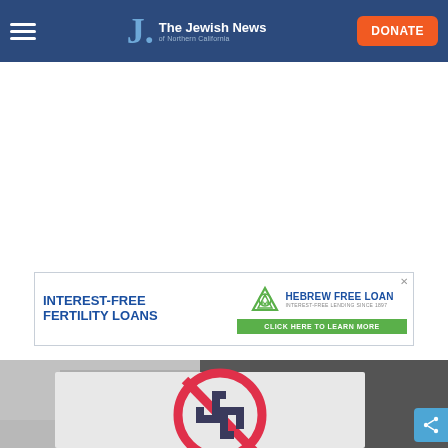The Jewish News of Northern California
[Figure (screenshot): Advertisement banner for Hebrew Free Loan: Interest-Free Fertility Loans, click here to learn more]
[Figure (photo): Photo of a protest sign showing a red circle with a line through a Nazi swastika symbol, an anti-Nazi sign being held at a protest, building visible in blurred background]